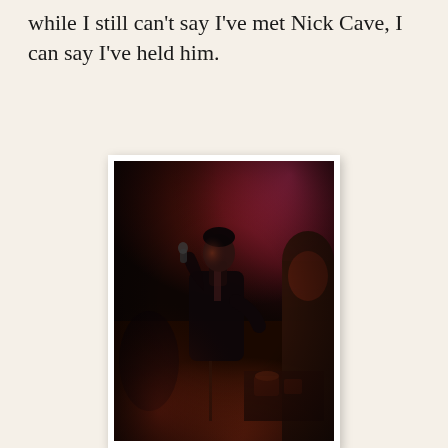while I still can't say I've met Nick Cave, I can say I've held him.
[Figure (photo): Dark, red-lit concert photo of a performer (Nick Cave) singing into a microphone on stage, wearing a dark suit, with stage equipment and warm ambient lighting in the background.]